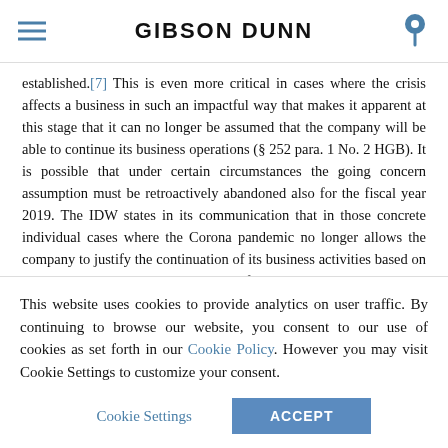GIBSON DUNN
established.[7] This is even more critical in cases where the crisis affects a business in such an impactful way that makes it apparent at this stage that it can no longer be assumed that the company will be able to continue its business operations (§ 252 para. 1 No. 2 HGB). It is possible that under certain circumstances the going concern assumption must be retroactively abandoned also for the fiscal year 2019. The IDW states in its communication that in those concrete individual cases where the Corona pandemic no longer allows the company to justify the continuation of its business activities based on a going concern assumption, „the financial statements must be prepared in accordance with the provisions of IDW RS HFA 17 (e.g. valuation from a liquidation perspective), and the going concern
This website uses cookies to provide analytics on user traffic. By continuing to browse our website, you consent to our use of cookies as set forth in our Cookie Policy. However you may visit Cookie Settings to customize your consent.